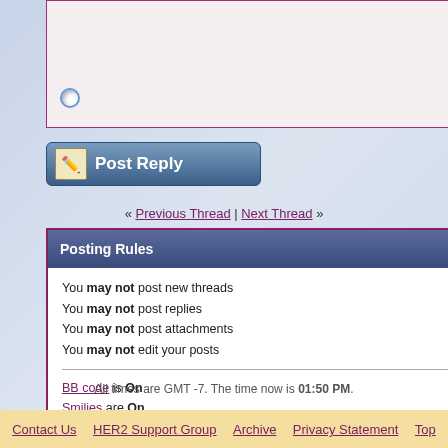High bilirubin. I have anywhere 2 months to live.
[Figure (screenshot): Post Reply button with pencil/paper icon]
« Previous Thread | Next Thread »
Posting Rules
You may not post new threads
You may not post replies
You may not post attachments
You may not edit your posts
BB code is On
Smilies are On
[IMG] code is On
HTML code is Off
Forum Rules
Forum Jump
Profiles In Courage
All times are GMT -7. The time now is 01:50 PM.
Contact Us   HER2 Support Group   Archive   Privacy Statement   Top